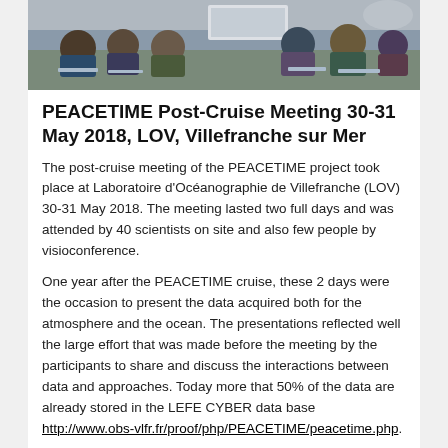[Figure (photo): Group of scientists/attendees at a meeting, seated and working, photographed from the front of the room]
PEACETIME Post-Cruise Meeting 30-31 May 2018, LOV, Villefranche sur Mer
The post-cruise meeting of the PEACETIME project took place at Laboratoire d'Océanographie de Villefranche (LOV) 30-31 May 2018. The meeting lasted two full days and was attended by 40 scientists on site and also few people by visioconference.
One year after the PEACETIME cruise, these 2 days were the occasion to present the data acquired both for the atmosphere and the ocean. The presentations reflected well the large effort that was made before the meeting by the participants to share and discuss the interactions between data and approaches. Today more that 50% of the data are already stored in the LEFE CYBER data base http://www.obs-vlfr.fr/proof/php/PEACETIME/peacetime.php.
After the main presentations (see the full list below), scientists met in small groups to discuss the results' exploitation strategy and a provisional list of